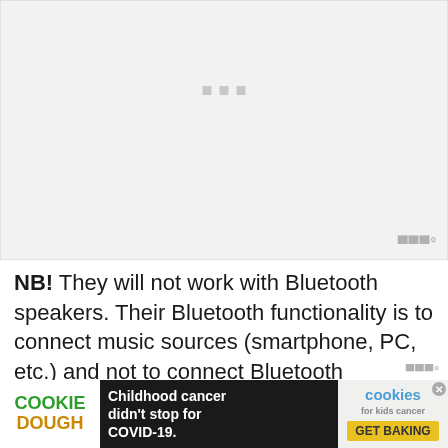[Figure (other): Image placeholder with light gray background and three small gray squares centered near the top. A watermark logo appears in the bottom-right corner.]
NB! They will not work with Bluetooth speakers. Their Bluetooth functionality is to connect music sources (smartphone, PC, etc.) and not to connect Bluetooth headphones or speakers. So external speakers must be connected with a signal
[Figure (other): Advertisement banner: Cookie Dough brand on the left, center text 'Childhood cancer didn't stop for COVID-19.', right side shows cookies for kids cancer logo and 'GET BAKING' button. A close (X) button is visible.]